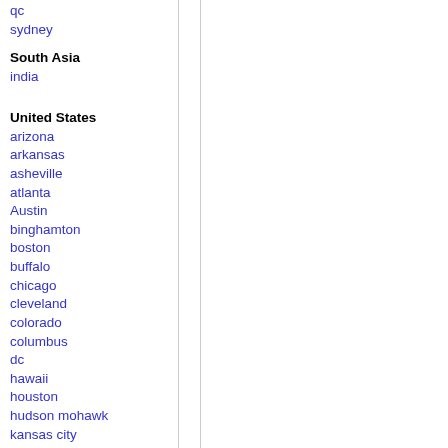qc
sydney
South Asia
india
United States
arizona
arkansas
asheville
atlanta
Austin
binghamton
boston
buffalo
chicago
cleveland
colorado
columbus
dc
hawaii
houston
hudson mohawk
kansas city
la
madison